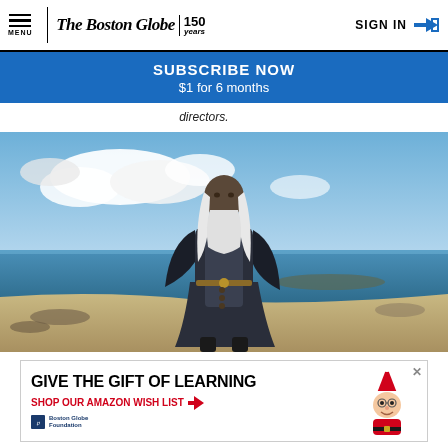MENU | The Boston Globe 150 years | SIGN IN →
SUBSCRIBE NOW
$1 for 6 months
directors.
[Figure (photo): A person in a grey/dark fantasy medieval robe with long white hair and beard stands on a rocky beach with blue sky and ocean in the background — a scene from House of the Dragon.]
[Figure (other): Advertisement banner: GIVE THE GIFT OF LEARNING / SHOP OUR AMAZON WISH LIST with Boston Globe Foundation logo and Santa illustration]